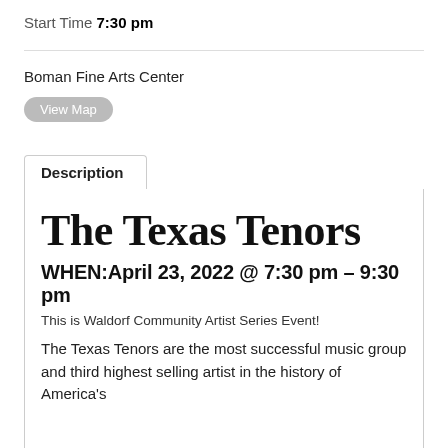Start Time 7:30 pm
Boman Fine Arts Center
View Map
Description
The Texas Tenors
WHEN:April 23, 2022 @ 7:30 pm – 9:30 pm
This is Waldorf Community Artist Series Event!
The Texas Tenors are the most successful music group and third highest selling artist in the history of America's